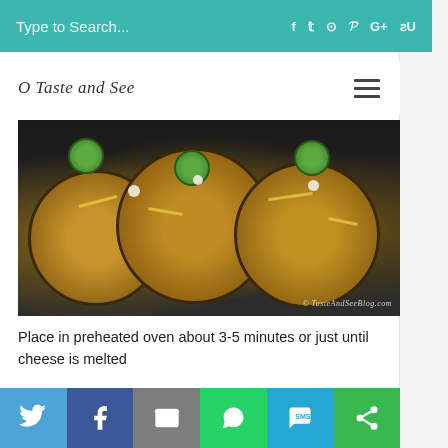Type to Search...
O Taste and See
[Figure (photo): Overhead view of three round tortilla flatbreads topped with cheese, beans, and jalapeño slices on a dark baking tray. Watermark reads: OTasteAndSeeBlog.com]
Place in preheated oven about 3-5 minutes or just until cheese is melted
[Figure (photo): Close-up photo of a flatbread/tostada with melted cheese, black beans, and jalapeño slices on a wooden cutting board against a dark background]
Twitter | Facebook | Email | WhatsApp | SMS | Share